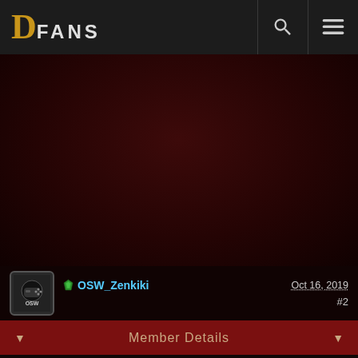DFANS
[Figure (screenshot): Dark reddish-black background area, likely game artwork or advertisement content]
OSW_Zenkiki   Oct 16, 2019   #2
Member Details
Welcome! You've picked an exciting time to come back with BlizzCon just around the corner and new Diablo announcements on the horizon!